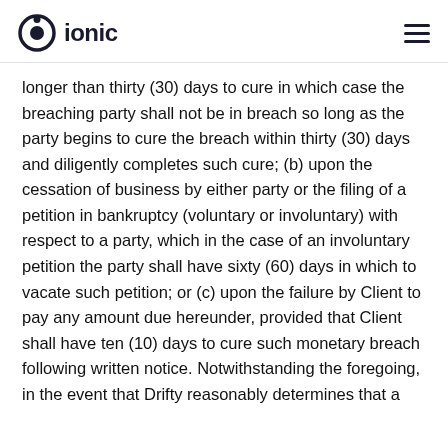ionic
longer than thirty (30) days to cure in which case the breaching party shall not be in breach so long as the party begins to cure the breach within thirty (30) days and diligently completes such cure; (b) upon the cessation of business by either party or the filing of a petition in bankruptcy (voluntary or involuntary) with respect to a party, which in the case of an involuntary petition the party shall have sixty (60) days in which to vacate such petition; or (c) upon the failure by Client to pay any amount due hereunder, provided that Client shall have ten (10) days to cure such monetary breach following written notice. Notwithstanding the foregoing, in the event that Drifty reasonably determines that a